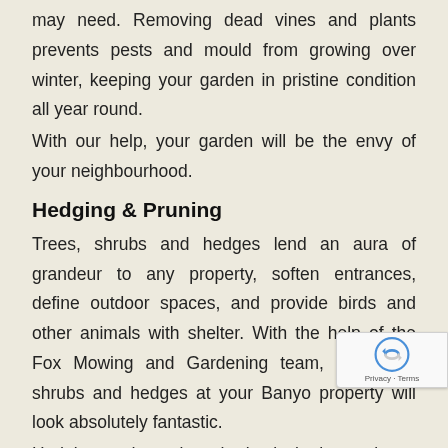may need. Removing dead vines and plants prevents pests and mould from growing over winter, keeping your garden in pristine condition all year round.
With our help, your garden will be the envy of your neighbourhood.
Hedging & Pruning
Trees, shrubs and hedges lend an aura of grandeur to any property, soften entrances, define outdoor spaces, and provide birds and other animals with shelter. With the help of the Fox Mowing and Gardening team, the trees, shrubs and hedges at your Banyo property will look absolutely fantastic.
Hedging and pruning shrubs is both a science and an art. Our expertly trained team knows exactly where to p... maximise your shrubbery's natural beauty.
Our Fox teams come fully equipped to handle even the tallest